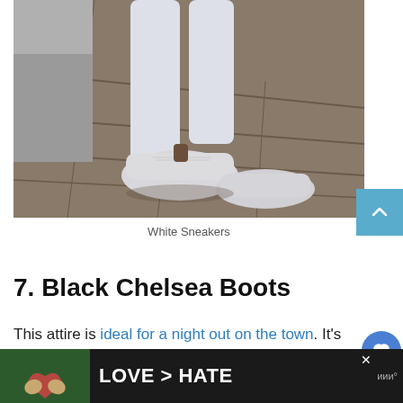[Figure (photo): Person wearing white jeans and white sneakers, sitting on steps/rooftop surface, photographed from waist down]
White Sneakers
7. Black Chelsea Boots
This attire is ideal for a night out on the town. It's sophisticated yet easy-going, should you need to go from one place to
[Figure (infographic): Advertisement banner at bottom: hands forming heart shape with text LOVE > HATE on dark background]